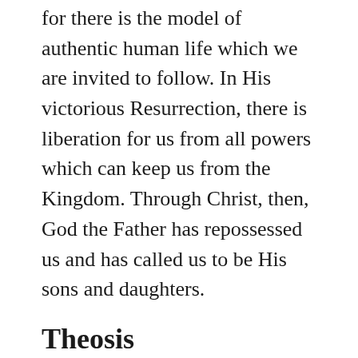for there is the model of authentic human life which we are invited to follow. In His victorious Resurrection, there is liberation for us from all powers which can keep us from the Kingdom. Through Christ, then, God the Father has repossessed us and has called us to be His sons and daughters.
Theosis
The fundamental vocation and goal of each and every person is to share in the life of God. We have been created by God to live in fellowship with Him. The descent of God in the Person of Jesus Christ has made possible the human ascent to the Father through the work of the Holy Spirit. Orthodoxy believes that each Christian is involved in a movement toward God which is